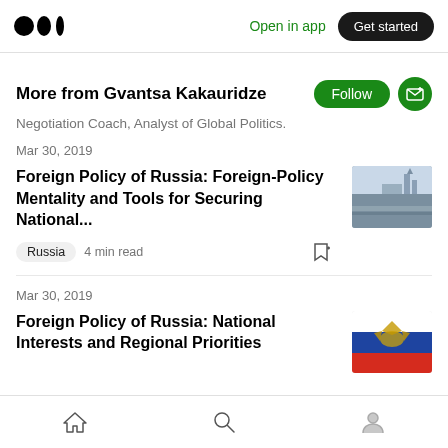Medium logo | Open in app | Get started
More from Gvantsa Kakauridze
Negotiation Coach, Analyst of Global Politics.
Mar 30, 2019
Foreign Policy of Russia: Foreign-Policy Mentality and Tools for Securing National...
Russia  4 min read
Mar 30, 2019
Foreign Policy of Russia: National Interests and Regional Priorities
Home | Search | Profile